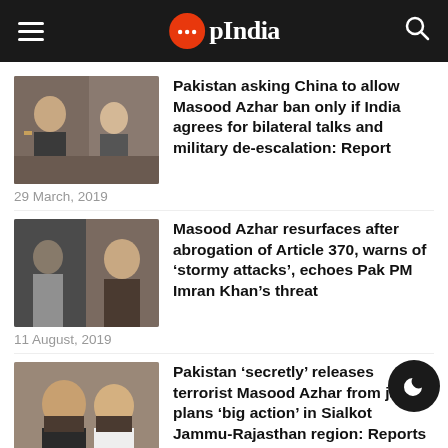OpIndia
[Figure (photo): Photo of a man in suit speaking at a meeting]
Pakistan asking China to allow Masood Azhar ban only if India agrees for bilateral talks and military de-escalation: Report
29 March, 2019
[Figure (photo): Composite photo of two men speaking]
Masood Azhar resurfaces after abrogation of Article 370, warns of 'stormy attacks', echoes Pak PM Imran Khan's threat
11 August, 2019
[Figure (photo): Photo of bearded men at a podium]
Pakistan 'secretly' releases terrorist Masood Azhar from jail, plans 'big action' in Sialkot Jammu-Rajasthan region: Reports